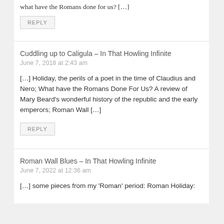what have the Romans done for us?  […]
REPLY
Cuddling up to Caligula – In That Howling Infinite
June 7, 2018 at 2:43 am
[…] Holiday, the perils of a poet in the time of Claudius and Nero; What have the Romans Done For Us? A review of Mary Beard's wonderful history of the republic and the early emperors; Roman Wall […]
REPLY
Roman Wall Blues – In That Howling Infinite
June 7, 2022 at 12:36 am
[…] some pieces from my 'Roman' period:  Roman Holiday: